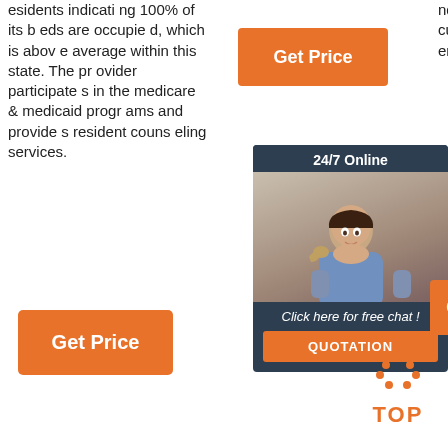esidents indicating 100% of its beds are occupied, which is above average within this state. The provider participates in the medicare & medicaid programs and provides resident counseling services.
[Figure (other): Orange 'Get Price' button (top)]
nd feedback from the customers with Flea Treatment have ected real help
[Figure (other): Chat widget with '24/7 Online' header, customer service representative photo, 'Click here for free chat!' text, and 'QUOTATION' button]
[Figure (other): Orange 'Get Price' button (bottom left)]
[Figure (other): Orange partial 'G' button (right side)]
[Figure (logo): Orange dotted triangle 'TOP' logo in bottom right corner]